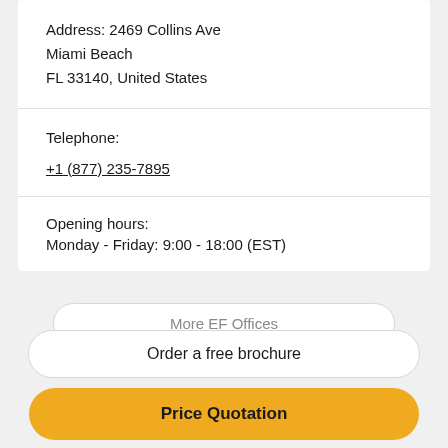Address: 2469 Collins Ave
Miami Beach
FL 33140, United States
Telephone:
+1 (877) 235-7895
Opening hours:
Monday - Friday: 9:00 - 18:00 (EST)
More EF Offices
Order a free brochure
Price Quotation